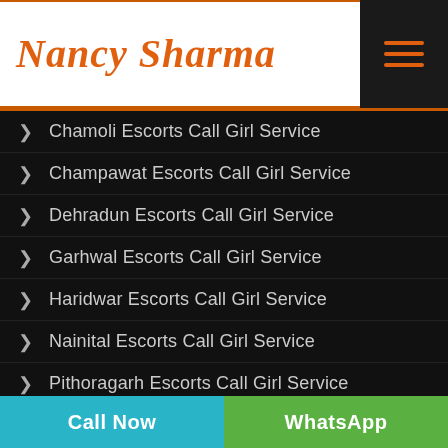[Figure (logo): Nancy Sharma logo in orange italic script font on white background with orange border lines]
Chamoli Escorts Call Girl Service
Champawat Escorts Call Girl Service
Dehradun Escorts Call Girl Service
Garhwal Escorts Call Girl Service
Haridwar Escorts Call Girl Service
Nainital Escorts Call Girl Service
Pithoragarh Escorts Call Girl Service
Rudraprayag Escorts Call Girl Service
Call Now | WhatsApp